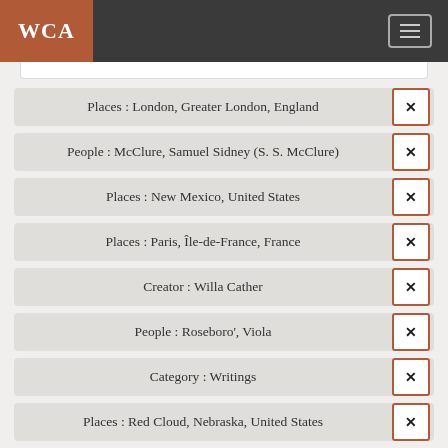WCA
Places : London, Greater London, England
People : McClure, Samuel Sidney (S. S. McClure)
Places : New Mexico, United States
Places : Paris, Île-de-France, France
Creator : Willa Cather
People : Roseboro', Viola
Category : Writings
Places : Red Cloud, Nebraska, United States